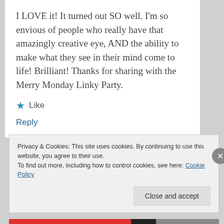I LOVE it! It turned out SO well. I'm so envious of people who really have that amazingly creative eye, AND the ability to make what they see in their mind come to life! Brilliant! Thanks for sharing with the Merry Monday Linky Party.
★ Like
Reply
Privacy & Cookies: This site uses cookies. By continuing to use this website, you agree to their use.
To find out more, including how to control cookies, see here: Cookie Policy
Close and accept